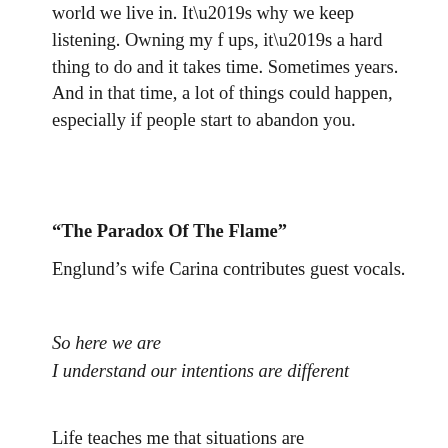world we live in. It’s why we keep listening. Owning my f ups, it’s a hard thing to do and it takes time. Sometimes years. And in that time, a lot of things could happen, especially if people start to abandon you.
“The Paradox Of The Flame”
Englund’s wife Carina contributes guest vocals.
So here we are
I understand our intentions are different
Life teaches me that situations are